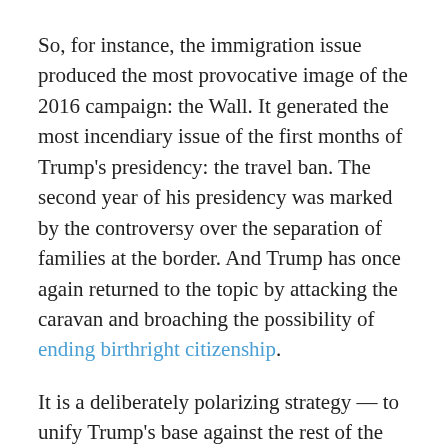So, for instance, the immigration issue produced the most provocative image of the 2016 campaign: the Wall. It generated the most incendiary issue of the first months of Trump's presidency: the travel ban. The second year of his presidency was marked by the controversy over the separation of families at the border. And Trump has once again returned to the topic by attacking the caravan and broaching the possibility of ending birthright citizenship.
It is a deliberately polarizing strategy — to unify Trump's base against the rest of the country.
According to Gallup polling in October, immigration ranked as the second most important issue for Republicans, just a hair behind the economy, and second highest for all eligible voters. It's a strategy deliberately crafted to drive a wedge right into the